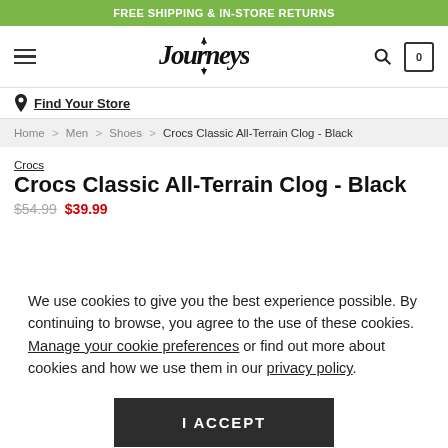FREE SHIPPING & IN-STORE RETURNS
[Figure (logo): Journeys logo with navigation icons (hamburger menu, search, cart with 0)]
Find Your Store
Home > Men > Shoes > Crocs Classic All-Terrain Clog - Black
Crocs
Crocs Classic All-Terrain Clog - Black
We use cookies to give you the best experience possible. By continuing to browse, you agree to the use of these cookies. Manage your cookie preferences or find out more about cookies and how we use them in our privacy policy.
I ACCEPT